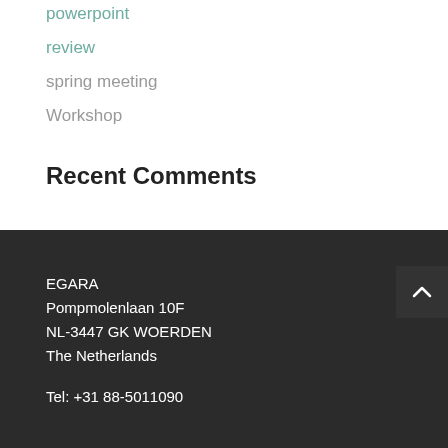powerpoint
review
spring meeting
Workshop
Recent Comments
EGARA
Pompmolenlaan 10F
NL-3447 GK WOERDEN
The Netherlands
Tel: +31 88-5011090